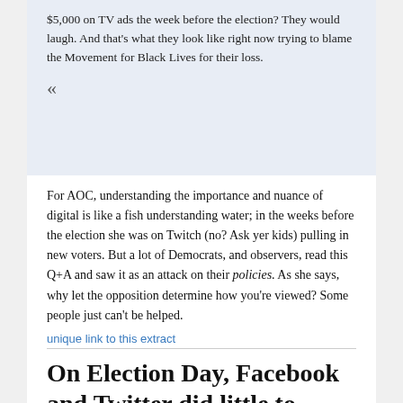$5,000 on TV ads the week before the election? They would laugh. And that's what they look like right now trying to blame the Movement for Black Lives for their loss.

«
For AOC, understanding the importance and nuance of digital is like a fish understanding water; in the weeks before the election she was on Twitch (no? Ask yer kids) pulling in new voters. But a lot of Democrats, and observers, read this Q+A and saw it as an attack on their policies. As she says, why let the opposition determine how you're viewed? Some people just can't be helped.
unique link to this extract
On Election Day, Facebook and Twitter did little to...